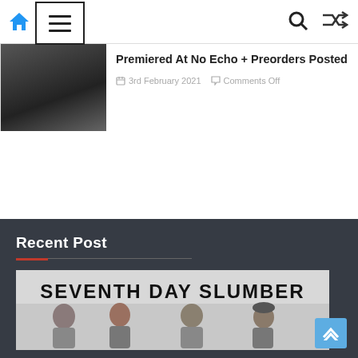Navigation bar with home icon, hamburger menu, search icon, and shuffle icon
Premiered At No Echo + Preorders Posted
3rd February 2021  Comments Off
Recent Post
[Figure (photo): Band photo for Seventh Day Slumber showing four band members with the band name text at top]